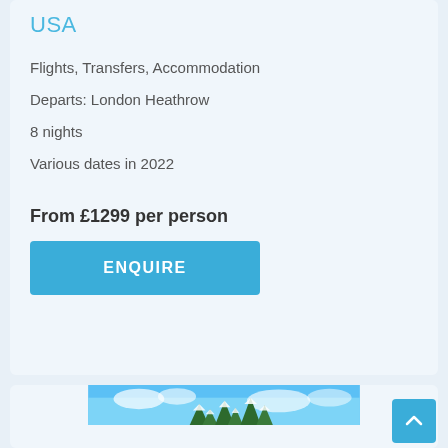USA
Flights, Transfers, Accommodation
Departs: London Heathrow
8 nights
Various dates in 2022
From £1299 per person
ENQUIRE
[Figure (photo): Blue sky with snow-covered evergreen trees at bottom, winter scene]